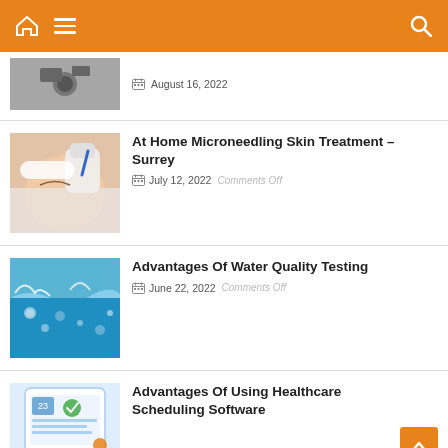Navigation bar with home icon, hamburger menu, and search icon
August 16, 2022
At Home Microneedling Skin Treatment – Surrey
July 12, 2022  Comments Off
Advantages Of Water Quality Testing
June 22, 2022  Comments Off
Advantages Of Using Healthcare Scheduling Software
Comments Off